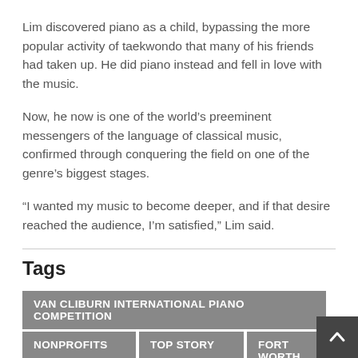Lim discovered piano as a child, bypassing the more popular activity of taekwondo that many of his friends had taken up. He did piano instead and fell in love with the music.
Now, he now is one of the world’s preeminent messengers of the language of classical music, confirmed through conquering the field on one of the genre’s biggest stages.
“I wanted my music to become deeper, and if that desire reached the audience, I’m satisfied,” Lim said.
Tags
VAN CLIBURN INTERNATIONAL PIANO COMPETITION
NONPROFITS
TOP STORY
FORT WORTH